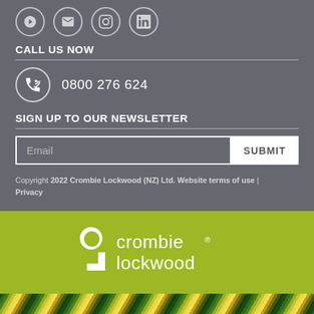[Figure (illustration): Row of social media icon circles (partially visible at top)]
CALL US NOW
0800 276 624
SIGN UP TO OUR NEWSLETTER
Email input field with SUBMIT button
Copyright 2022 Crombie Lockwood (NZ) Ltd. Website terms of use | Privacy
[Figure (logo): Crombie Lockwood logo on olive/yellow-green background]
[Figure (photo): Close-up abstract photo of green and yellow fibres/feathers at bottom]